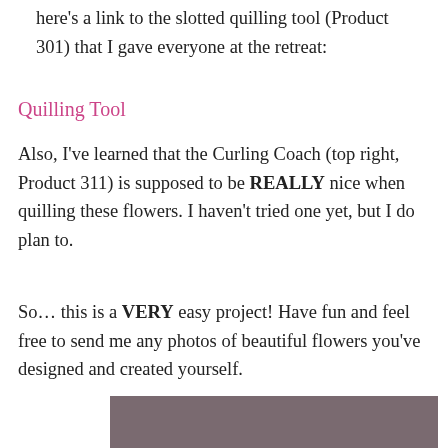here's a link to the slotted quilling tool (Product 301) that I gave everyone at the retreat:
Quilling Tool
Also, I've learned that the Curling Coach (top right, Product 311) is supposed to be REALLY nice when quilling these flowers. I haven't tried one yet, but I do plan to.
So… this is a VERY easy project! Have fun and feel free to send me any photos of beautiful flowers you've designed and created yourself.
[Figure (photo): Bottom portion of a photo with a grey-brown background color, partially visible at the bottom of the page.]